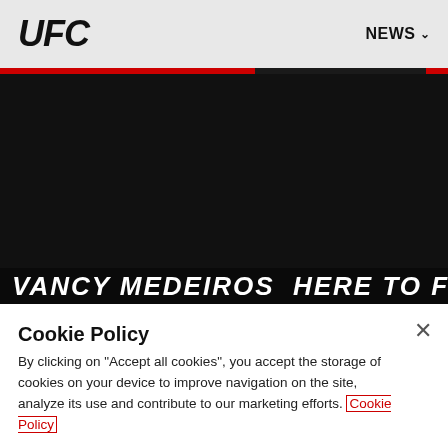UFC  NEWS
[Figure (photo): Dark/black hero image area of UFC website with a partially visible fighter headline text at the bottom reading 'VANCY MEDEIROS HERE TO FIGHT']
Cookie Policy
By clicking on "Accept all cookies", you accept the storage of cookies on your device to improve navigation on the site, analyze its use and contribute to our marketing efforts. Cookie Policy